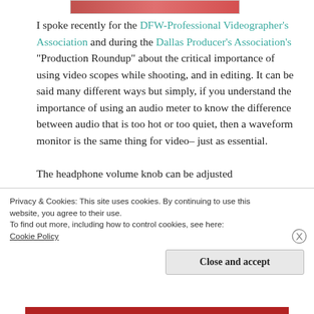[Figure (photo): Partial image strip at top, showing reddish/orange tones, cropped.]
I spoke recently for the DFW-Professional Videographer's Association and during the Dallas Producer's Association's "Production Roundup" about the critical importance of using video scopes while shooting, and in editing. It can be said many different ways but simply, if you understand the importance of using an audio meter to know the difference between audio that is too hot or too quiet, then a waveform monitor is the same thing for video– just as essential.

The headphone volume knob can be adjusted
Privacy & Cookies: This site uses cookies. By continuing to use this website, you agree to their use.
To find out more, including how to control cookies, see here:
Cookie Policy
Close and accept